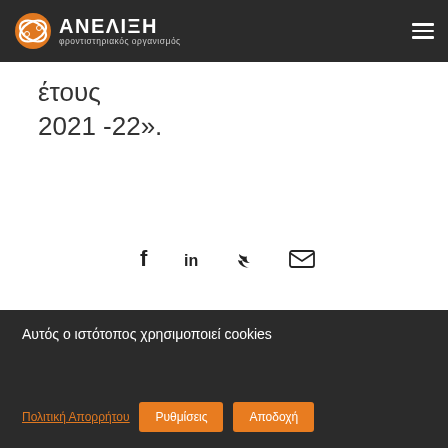ΑΝΕΛΙΞΗ φροντιστηριακός οργανισμός
έτους 2021 -22».
[Figure (infographic): Social media share icons: Facebook (f), LinkedIn (in), Twitter bird, Email envelope]
Αυτός ο ιστότοπος χρησιμοποιεί cookies
Πολιτική Απορρήτου   Ρυθμίσεις   Αποδοχή